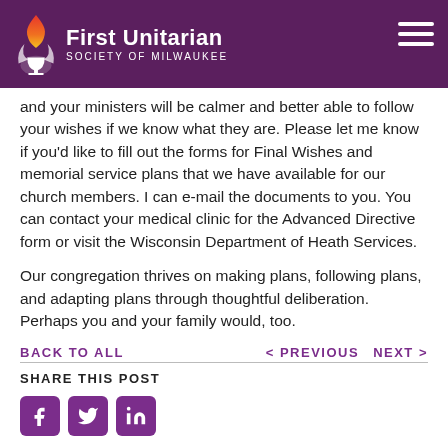First Unitarian Society of Milwaukee
and your ministers will be calmer and better able to follow your wishes if we know what they are. Please let me know if you'd like to fill out the forms for Final Wishes and memorial service plans that we have available for our church members. I can e-mail the documents to you. You can contact your medical clinic for the Advanced Directive form or visit the Wisconsin Department of Heath Services.
Our congregation thrives on making plans, following plans, and adapting plans through thoughtful deliberation. Perhaps you and your family would, too.
BACK TO ALL   < PREVIOUS   NEXT >
SHARE THIS POST